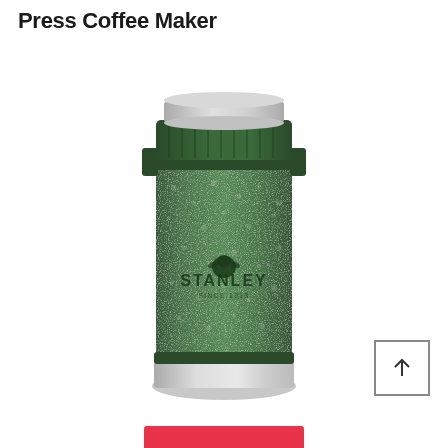Press Coffee Maker
[Figure (photo): Stanley Classic Travel French Press Coffee Maker in hammertone green color. Cylindrical stainless steel travel mug/press with dark green hammered paint finish, a ribbed lid assembly at top, and a polished stainless steel base. The Stanley bear logo and 'STANLEY SINCE 1913' text are embossed on the body.]
[Figure (other): Square scroll-to-top button with an upward arrow icon in the bottom right corner.]